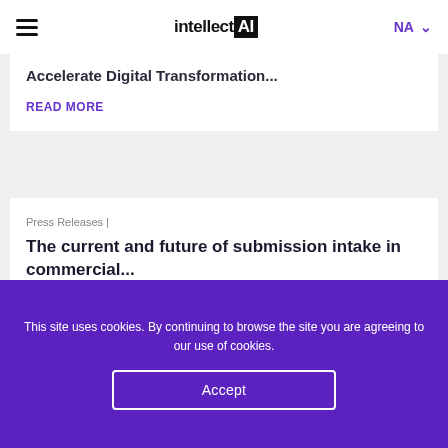intellectAI | NA
Accelerate Digital Transformation...
READ MORE
Press Releases |
The current and future of submission intake in commercial...
READ MORE
This site uses cookies. By continuing to browse the site you are agreeing to our use of cookies.
Accept